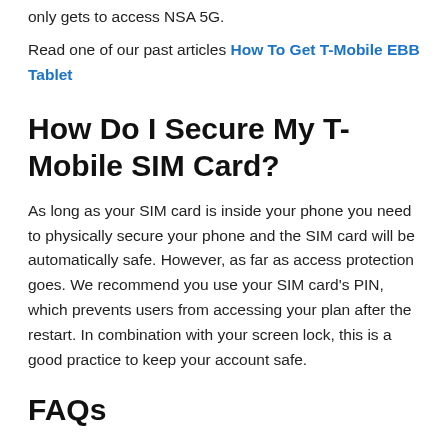only gets to access NSA 5G.
Read one of our past articles How To Get T-Mobile EBB Tablet
How Do I Secure My T-Mobile SIM Card?
As long as your SIM card is inside your phone you need to physically secure your phone and the SIM card will be automatically safe. However, as far as access protection goes. We recommend you use your SIM card's PIN, which prevents users from accessing your plan after the restart. In combination with your screen lock, this is a good practice to keep your account safe.
FAQs